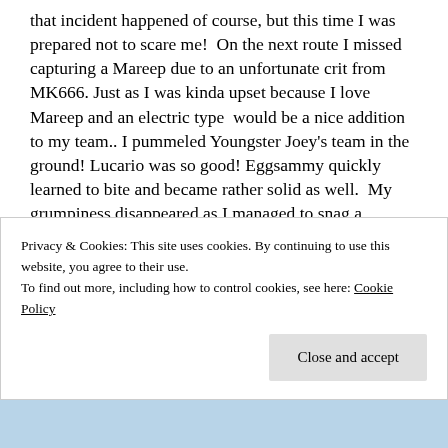that incident happened of course, but this time I was prepared not to scare me!  On the next route I missed capturing a Mareep due to an unfortunate crit from MK666. Just as I was kinda upset because I love Mareep and an electric type  would be a nice addition to my team.. I pummeled Youngster Joey's team in the ground! Lucario was so good! Eggsammy quickly learned to bite and became rather solid as well.  My grumpiness disappeared as I managed to snag a Lanturn as my next friend on Route 31! I love Lanturn. It is so cute!  My typings were amazing plus these were all pretty good Pokémon! Would this be my moment in the sun?!
Privacy & Cookies: This site uses cookies. By continuing to use this website, you agree to their use.
To find out more, including how to control cookies, see here: Cookie Policy